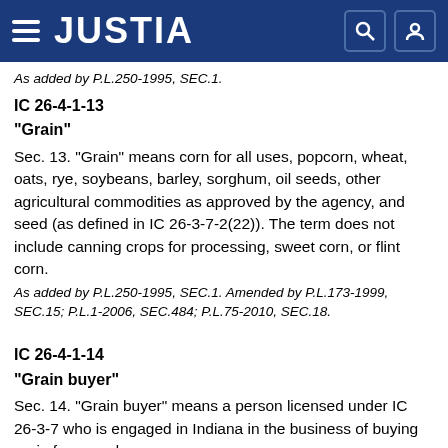JUSTIA
As added by P.L.250-1995, SEC.1.
IC 26-4-1-13
"Grain"
Sec. 13. "Grain" means corn for all uses, popcorn, wheat, oats, rye, soybeans, barley, sorghum, oil seeds, other agricultural commodities as approved by the agency, and seed (as defined in IC 26-3-7-2(22)). The term does not include canning crops for processing, sweet corn, or flint corn.
As added by P.L.250-1995, SEC.1. Amended by P.L.173-1999, SEC.15; P.L.1-2006, SEC.484; P.L.75-2010, SEC.18.
IC 26-4-1-14
"Grain buyer"
Sec. 14. "Grain buyer" means a person licensed under IC 26-3-7 who is engaged in Indiana in the business of buying grain from producers.